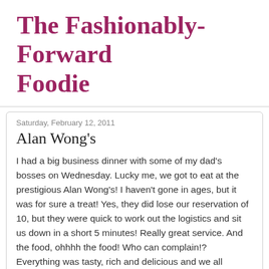The Fashionably-Forward Foodie
Saturday, February 12, 2011
Alan Wong's
I had a big business dinner with some of my dad's bosses on Wednesday. Lucky me, we got to eat at the prestigious Alan Wong's! I haven't gone in ages, but it was for sure a treat! Yes, they did lose our reservation of 10, but they were quick to work out the logistics and sit us down in a short 5 minutes! Really great service. And the food, ohhhh the food! Who can complain!? Everything was tasty, rich and delicious and we all walked out a little tipsy. Good night to bond with big bosses!